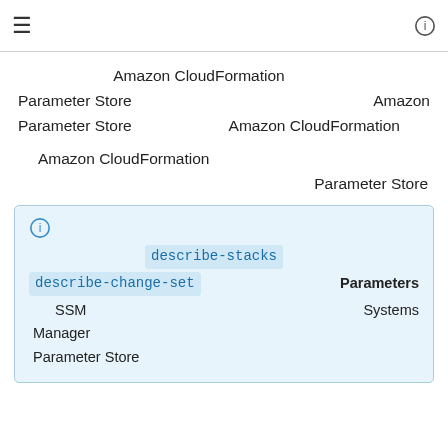≡  ⓘ
Amazon CloudFormation
Parameter Store                                          Amazon
Parameter Store              Amazon CloudFormation

Amazon CloudFormation
                                                               Parameter Store
ⓘ
describe-stacks
describe-change-set    Parameters
SSM    Systems
Manager
Parameter Store